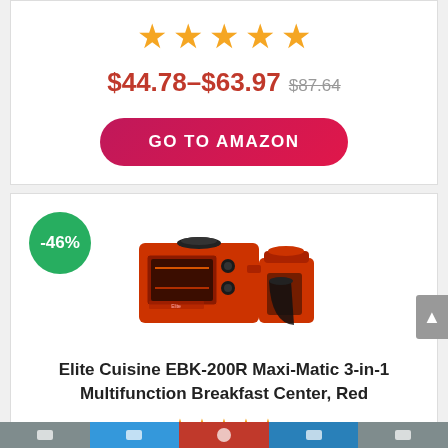[Figure (other): Five orange/gold stars rating display]
$44.78–$63.97 $87.64
GO TO AMAZON
-46%
[Figure (photo): Elite Cuisine EBK-200R red 3-in-1 breakfast center appliance with toaster oven, hot plate, and coffee maker]
Elite Cuisine EBK-200R Maxi-Matic 3-in-1 Multifunction Breakfast Center, Red
[Figure (other): Five orange/gold stars rating display (partial/bottom)]